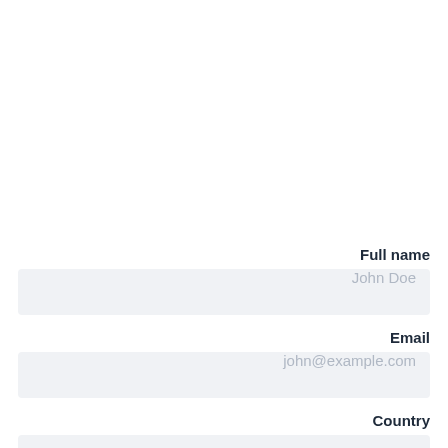Full name
John Doe
Email
john@example.com
Country
Afghanistan